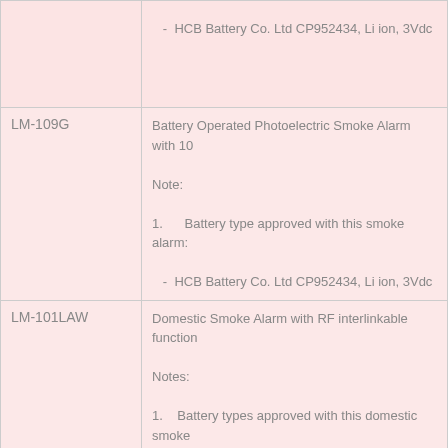| Model | Description |
| --- | --- |
|  | - HCB Battery Co. Ltd CP952434, Li ion, 3Vdc |
| LM-109G | Battery Operated Photoelectric Smoke Alarm with 10

Note:

1. Battery type approved with this smoke alarm:

- HCB Battery Co. Ltd CP952434, Li ion, 3Vdc |
| LM-101LAW | Domestic Smoke Alarm with RF interlinkable function

Notes:

1. Battery types approved with this domestic smoke

Pair Deer 9V 6F22
GP 9V 1604S
Mustang 9V 6F22
Pair Deer 9V 6LR61
GP 9V 1604A
Pair Deer 3 x 1.5V LR6/AA
GP 3 x 1.5V GP15AU
Mustang 3 x 1.5V LR6/AA
The radio link functionality is not included within the s |